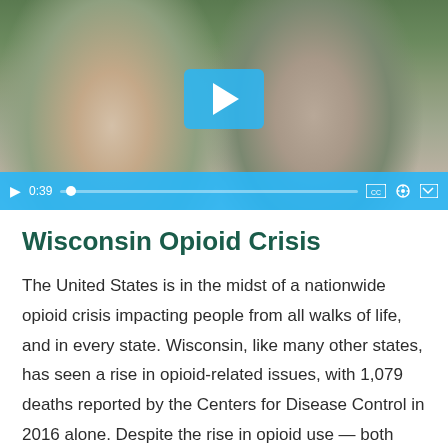[Figure (screenshot): Video thumbnail showing two women, one comforting the other who is crying with hands covering face. Video player controls are visible at the bottom with a light blue play button overlay in the center. Duration shows 0:39.]
Wisconsin Opioid Crisis
The United States is in the midst of a nationwide opioid crisis impacting people from all walks of life, and in every state. Wisconsin, like many other states, has seen a rise in opioid-related issues, with 1,079 deaths reported by the Centers for Disease Control in 2016 alone. Despite the rise in opioid use — both